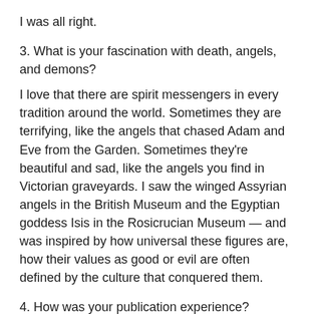I was all right.
3. What is your fascination with death, angels, and demons?
I love that there are spirit messengers in every tradition around the world. Sometimes they are terrifying, like the angels that chased Adam and Eve from the Garden. Sometimes they're beautiful and sad, like the angels you find in Victorian graveyards. I saw the winged Assyrian angels in the British Museum and the Egyptian goddess Isis in the Rosicrucian Museum — and was inspired by how universal these figures are, how their values as good or evil are often defined by the culture that conquered them.
4. How was your publication experience?